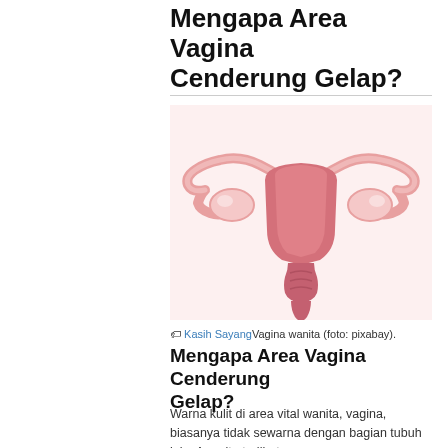Mengapa Area Vagina Cenderung Gelap?
[Figure (illustration): Anatomical illustration of the female reproductive system (uterus, fallopian tubes, ovaries) in pink tones on a light pink/white background. Labeled as photo from pixabay.]
Kasih SayangVagina wanita (foto: pixabay).
Mengapa Area Vagina Cenderung Gelap?
Warna kulit di area vital wanita, vagina, biasanya tidak sewarna dengan bagian tubuh lain. Area itu terlihat ...